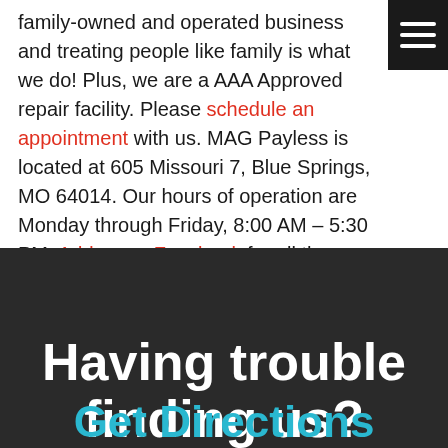family-owned and operated business and treating people like family is what we do! Plus, we are a AAA Approved repair facility. Please schedule an appointment with us. MAG Payless is located at 605 Missouri 7, Blue Springs, MO 64014. Our hours of operation are Monday through Friday, 8:00 AM – 5:30 PM. Add us on Facebook for all the latest updates on our business hours. We Say Yes!
Having trouble finding us?
Get Directions